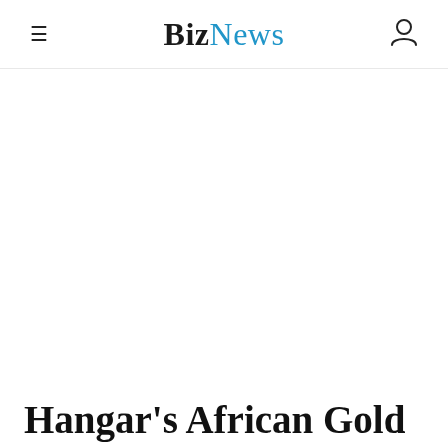≡ BizNews 👤
Hangar's African Gold